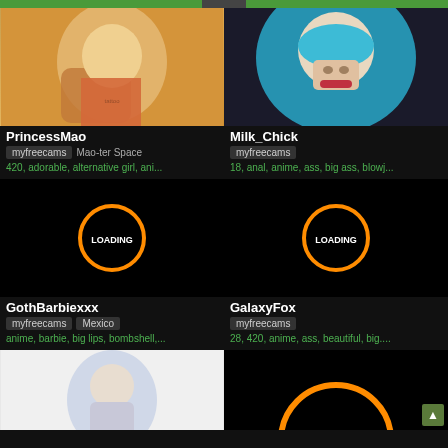[Figure (screenshot): Website grid of cam model thumbnails with names, platform badges, and tag links on dark background]
PrincessMao
myfreecams  Mao-ter Space
420, adorable, alternative girl, ani...
Milk_Chick
myfreecams
18, anal, anime, ass, big ass, blowj...
GothBarbiexxx
myfreecams  Mexico
anime, barbie, big lips, bombshell,...
GalaxyFox
myfreecams
28, 420, anime, ass, beautiful, big....